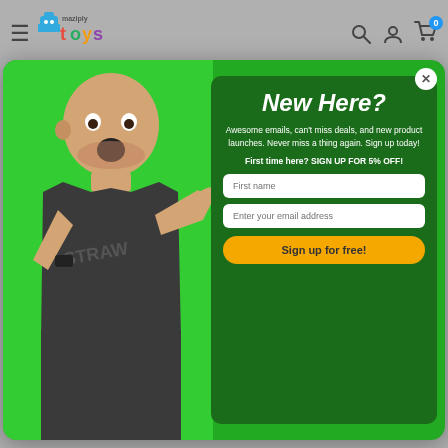Maziply Toys — navigation header with hamburger menu, logo, search, account, and cart (0 items)
[Figure (screenshot): Man with surprised expression pointing to the right, on a green background, as part of email signup modal]
New Here?
Awesome emails, can't miss deals, and new product launches. Never miss a thing again. Sign up today!
First time here? SIGN UP FOR 5% OFF!
First name (input field)
Enter your email address (input field)
Sign up for free!
Estimate